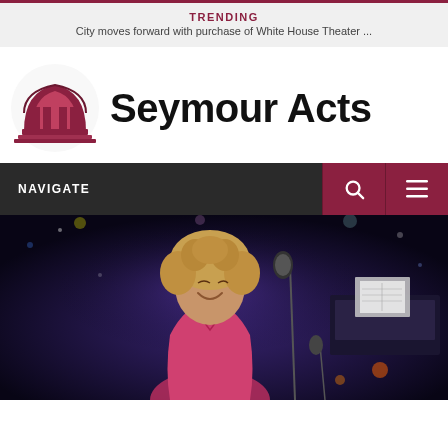TRENDING
City moves forward with purchase of White House Theater ...
[Figure (logo): Seymour Acts logo with building icon and site name text]
NAVIGATE
[Figure (photo): Woman with curly hair performing on stage, laughing, wearing a red/pink top, with microphone and piano visible in background under blue stage lighting]